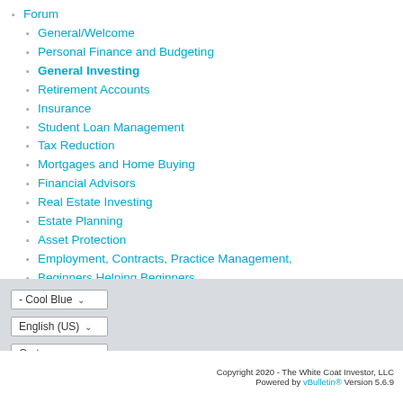Forum
General/Welcome
Personal Finance and Budgeting
General Investing
Retirement Accounts
Insurance
Student Loan Management
Tax Reduction
Mortgages and Home Buying
Financial Advisors
Real Estate Investing
Estate Planning
Asset Protection
Employment, Contracts, Practice Management,
Beginners Helping Beginners
Women's Issues
The Lounge
- Cool Blue
English (US)
Go to...
Copyright 2020 - The White Coat Investor, LLC Powered by vBulletin® Version 5.6.9